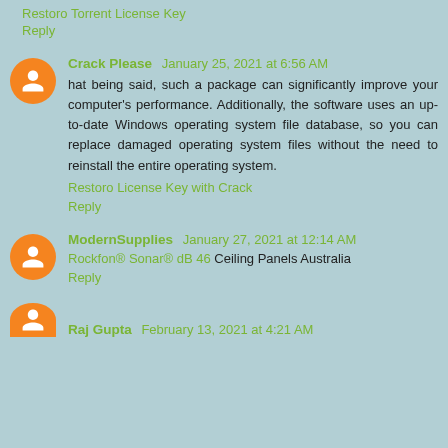Restoro Torrent License Key
Reply
Crack Please  January 25, 2021 at 6:56 AM
hat being said, such a package can significantly improve your computer's performance. Additionally, the software uses an up-to-date Windows operating system file database, so you can replace damaged operating system files without the need to reinstall the entire operating system.
Restoro License Key with Crack
Reply
ModernSupplies  January 27, 2021 at 12:14 AM
Rockfon® Sonar® dB 46 Ceiling Panels Australia
Reply
Raj Gupta  February 13, 2021 at 4:21 AM